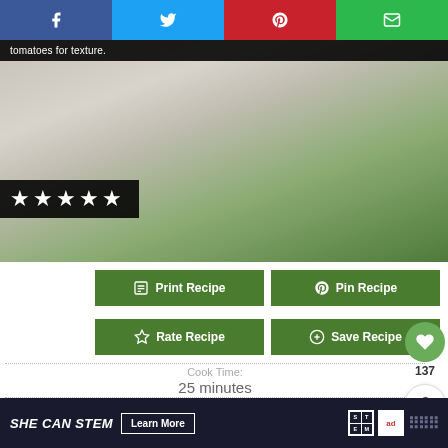[Figure (screenshot): Social share bar with Facebook, Twitter, Pinterest, and email buttons]
[Figure (photo): Recipe hero image with tomato sauce on marble surface with basil leaves, black overlay caption reading 'tomatoes for texture.' and 5-star rating block]
tomatoes for texture.
[Figure (infographic): 5 star rating shown as white stars on black background]
Print Recipe
Pin Recipe
Rate Recipe
Save Recipe
Cook Time:
25 minutes
Total Time:
25 minutes
Course: Condiment   Cuisine: Italian
Keyword: 30 Min or Less, Dairy Free, Gluten... Vegan, Vegetarian
Servings: 3 cups (enough for 3 12" pizzas)
[Figure (infographic): WHAT'S NEXT panel with tomato garlic Italian Green... thumbnail]
[Figure (advertisement): SHE CAN STEM advertisement banner with Learn More button, STEM logo and Ad Council logo]